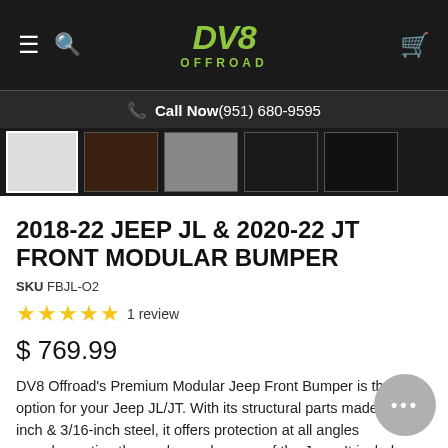DV8 OFFROAD – Call Now (951) 680-9595
[Figure (screenshot): Product thumbnail strip showing multiple images of the front modular bumper]
2018-22 JEEP JL & 2020-22 JT FRONT MODULAR BUMPER
SKU FBJL-O2
★★★★★ 1 review
$ 769.99
DV8 Offroad's Premium Modular Jeep Front Bumper is the best option for your Jeep JL/JT. With its structural parts made of 1/4-inch & 3/16-inch steel, it offers protection at all angles complementing the angles and curves of the Jeep. It includes a winch mount and D-ring mounts to provide recover options.